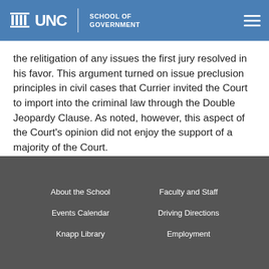UNC School of Government
the relitigation of any issues the first jury resolved in his favor. This argument turned on issue preclusion principles in civil cases that Currier invited the Court to import into the criminal law through the Double Jeopardy Clause. As noted, however, this aspect of the Court's opinion did not enjoy the support of a majority of the Court.
There was dissenting opinion in this case.
About the School | Faculty and Staff | Events Calendar | Driving Directions | Knapp Library | Employment